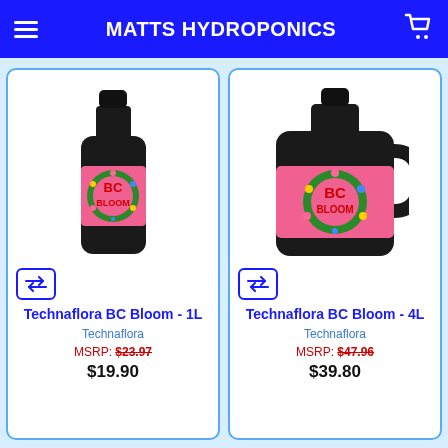MATTS HYDROPONICS
[Figure (photo): Technaflora BC Bloom 1L bottle with pink label featuring BC Bloom branding and floral design]
Technaflora BC Bloom - 1L
Technaflora
MSRP: $23.97
$19.90
[Figure (photo): Technaflora BC Bloom 4L large jug with pink label featuring BC Bloom branding and floral design]
Technaflora BC Bloom - 4L
Technaflora
MSRP: $47.96
$39.80